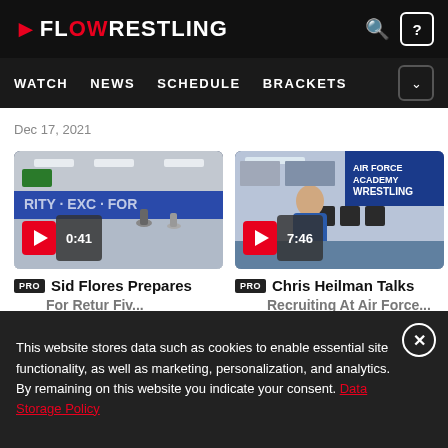FLOWRESTLING | WATCH | NEWS | SCHEDULE | BRACKETS
Dec 17, 2021
[Figure (screenshot): Video thumbnail of a wrestling room practice, duration 0:41]
[Figure (screenshot): Video thumbnail of a man in a wrestling room with 'Academy Wrestling' banner in background, duration 7:46]
PRO Sid Flores Prepares For Retur Fiv...
PRO Chris Heilman Talks Recruiting At Air Force...
This website stores data such as cookies to enable essential site functionality, as well as marketing, personalization, and analytics. By remaining on this website you indicate your consent. Data Storage Policy